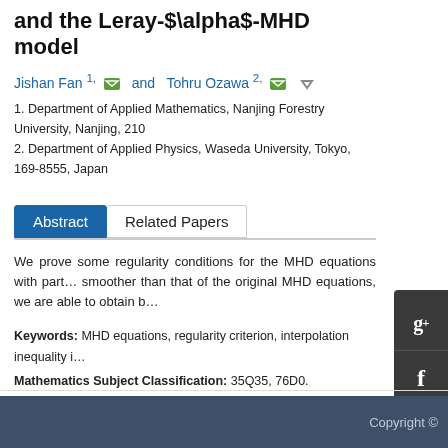and the Leray-$\alpha$-MHD model
Jishan Fan 1, and Tohru Ozawa 2,
1. Department of Applied Mathematics, Nanjing Forestry University, Nanjing, 210...
2. Department of Applied Physics, Waseda University, Tokyo, 169-8555, Japan
Abstract | Related Papers
We prove some regularity conditions for the MHD equations with part... smoother than that of the original MHD equations, we are able to obtain b...
Keywords: MHD equations, regularity criterion, interpolation inequality i...
Mathematics Subject Classification: 35Q35, 76D0.
Citation: Jishan Fan, Tohru Ozawa. Regularity criteria for the magnetohy... 2009, 2 (2) : 293-305. doi: 10.3934/krm.2009.2.293
Copyright ©